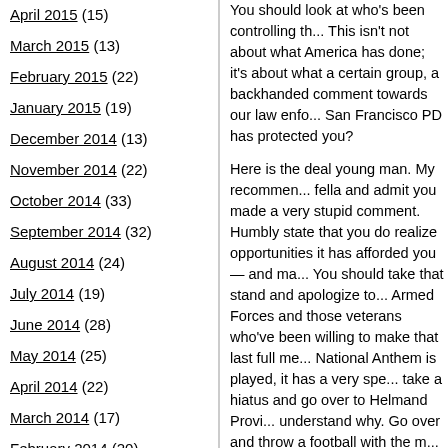April 2015 (15)
March 2015 (13)
February 2015 (22)
January 2015 (19)
December 2014 (13)
November 2014 (22)
October 2014 (33)
September 2014 (32)
August 2014 (24)
July 2014 (19)
June 2014 (28)
May 2014 (25)
April 2014 (22)
March 2014 (17)
February 2014 (20)
January 2014 (14)
December 2013 (12)
You should look at who's been controlling th... This isn't not about what America has done; it's about what a certain group, a backhanded comment towards our law enfo... San Francisco PD has protected you?
Here is the deal young man. My recommen... fella and admit you made a very stupid comment. Humbly state that you do realize opportunities it has afforded you — and ma... You should take that stand and apologize to... Armed Forces and those veterans who've been willing to make that last full me... National Anthem is played, it has a very spe... take a hiatus and go over to Helmand Provi... understand why. Go over and throw a football with the m... those millions of dollars.
The American flag has a very touching mea... our coffin — as it was for my Dad…and it will be for me. That song defines who we is a land where so many dream of coming to... actions were shameful, disgusting, despica...
You do have a right and a freedom of expre... your ignorant action, which is what it...